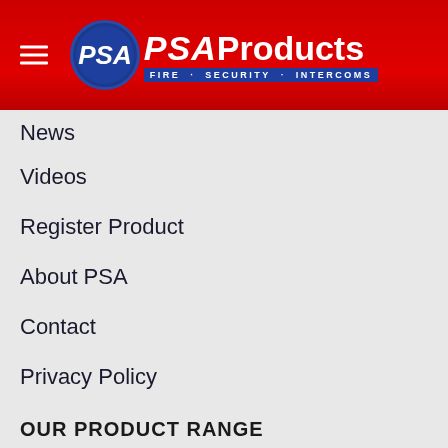PSA Products — FIRE · SECURITY · INTERCOMS
News
Videos
Register Product
About PSA
Contact
Privacy Policy
OUR PRODUCT RANGE
Smoke Alarms
Video Intercoms